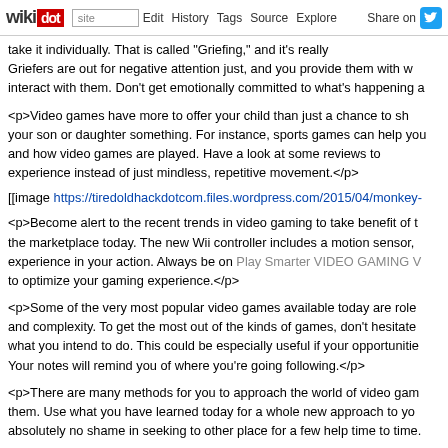wikidot | site | Edit | History | Tags | Source | Explore | Share on Twitter
take it individually. That is called "Griefing," and it's really Griefers are out for negative attention just, and you provide them with w interact with them. Don't get emotionally committed to what's happening a
<p>Video games have more to offer your child than just a chance to sh your son or daughter something. For instance, sports games can help you and how video games are played. Have a look at some reviews to experience instead of just mindless, repetitive movement.</p>
[[image https://tiredoldhackdotcom.files.wordpress.com/2015/04/monkey-
<p>Become alert to the recent trends in video gaming to take benefit of t the marketplace today. The new Wii controller includes a motion sensor, experience in your action. Always be on Play Smarter VIDEO GAMING W to optimize your gaming experience.</p>
<p>Some of the very most popular video games available today are role and complexity. To get the most out of the kinds of games, don't hesitate what you intend to do. This could be especially useful if your opportunitie Your notes will remind you of where you're going following.</p>
<p>There are many methods for you to approach the world of video gam them. Use what you have learned today for a whole new approach to yo absolutely no shame in seeking to other place for a few help time to time.
Comments: 0
Add a New Comment